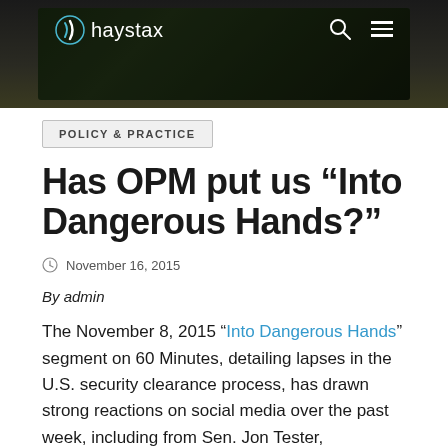[Figure (screenshot): Haystax website header banner with dark green/black background, haystax logo on left, search and hamburger menu icons on right, flanked by gray side margins]
POLICY & PRACTICE
Has OPM put us “Into Dangerous Hands?”
November 16, 2015
By admin
The November 8, 2015 “Into Dangerous Hands” segment on 60 Minutes, detailing lapses in the U.S. security clearance process, has drawn strong reactions on social media over the past week, including from Sen. Jon Tester, D-Mont., who posted to his Twitter “I’m calling on S...